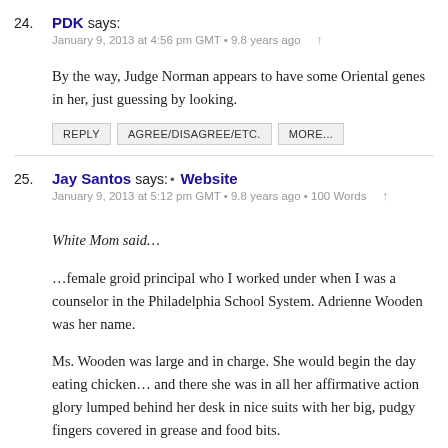24. PDK says: January 9, 2013 at 4:56 pm GMT • 9.8 years ago
By the way, Judge Norman appears to have some Oriental genes in her, just guessing by looking.
25. Jay Santos says: • Website January 9, 2013 at 5:12 pm GMT • 9.8 years ago • 100 Words
White Mom said…

…female groid principal who I worked under when I was a counselor in the Philadelphia School System. Adrienne Wooden was her name.

Ms. Wooden was large and in charge. She would begin the day eating chicken… and there she was in all her affirmative action glory lumped behind her desk in nice suits with her big, pudgy fingers covered in grease and food bits.